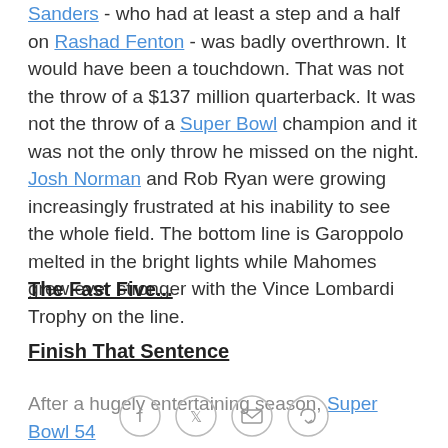attempted to hit Walter Davis's long bomb to Emmanuel Sanders - who had at least a step and a half on Rashad Fenton - was badly overthrown. It would have been a touchdown. That was not the throw of a $137 million quarterback. It was not the throw of a Super Bowl champion and it was not the only throw he missed on the night. Josh Norman and Rob Ryan were growing increasingly frustrated at his inability to see the whole field. The bottom line is Garoppolo melted in the bright lights while Mahomes grew ever stronger with the Vince Lombardi Trophy on the line.
The Fast Five...
Finish That Sentence
After a hugely entertaining season, Super Bowl 54